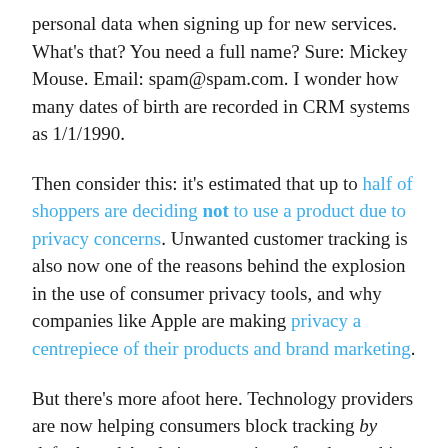personal data when signing up for new services. What's that? You need a full name? Sure: Mickey Mouse. Email: spam@spam.com. I wonder how many dates of birth are recorded in CRM systems as 1/1/1990.
Then consider this: it's estimated that up to half of shoppers are deciding not to use a product due to privacy concerns. Unwanted customer tracking is also now one of the reasons behind the explosion in the use of consumer privacy tools, and why companies like Apple are making privacy a centrepiece of their products and brand marketing.
But there's more afoot here. Technology providers are now helping consumers block tracking by default, and Apple is even going after the tracking industry by killing-off user device IDs completely.